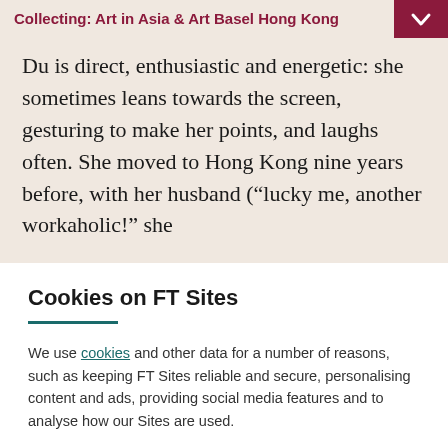Collecting: Art in Asia & Art Basel Hong Kong
Du is direct, enthusiastic and energetic: she sometimes leans towards the screen, gesturing to make her points, and laughs often. She moved to Hong Kong nine years before, with her husband (“lucky me, another workaholic!” she
Cookies on FT Sites
We use cookies and other data for a number of reasons, such as keeping FT Sites reliable and secure, personalising content and ads, providing social media features and to analyse how our Sites are used.
Manage cookies
Accept & continue